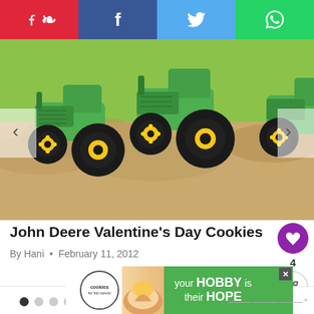[Figure (infographic): Social media share bar with Pinterest (red), Facebook (dark blue), Twitter (light blue), WhatsApp (green) buttons across the top of the page]
[Figure (photo): Photo of green John Deere tractor-shaped cookies decorated with yellow and black icing, sitting in brown sugar sand. Navigation arrows on left and right sides.]
John Deere Valentine's Day Cookies
By Hani • February 11, 2012
[Figure (infographic): Pagination dots: 6 dots, first one filled dark, rest gray. What's Next banner showing Christmas Holly Tree... with circular food image thumbnail.]
[Figure (infographic): Advertisement banner: cookies for kid cancer - your HOBBY is their HOPE. Close button visible. Watermark logo bottom right.]